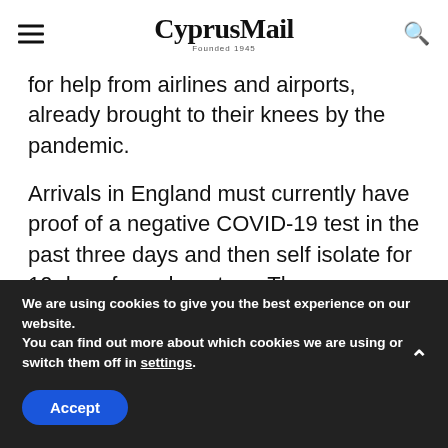CyprusMail — Founded 1945
for help from airlines and airports, already brought to their knees by the pandemic.
Arrivals in England must currently have proof of a negative COVID-19 test in the past three days and then self isolate for 10 days from departure. The government would introduce a requirement for additional tests, Hancock said.
We are using cookies to give you the best experience on our website.
You can find out more about which cookies we are using or switch them off in settings.